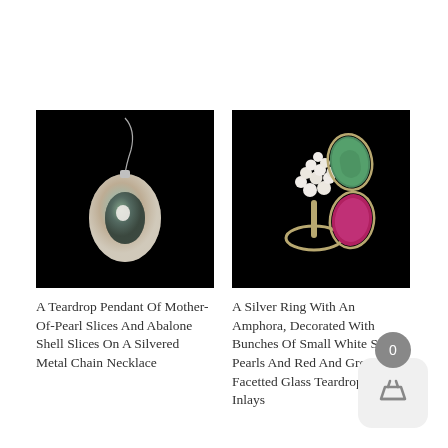[Figure (photo): A teardrop-shaped mother-of-pearl and abalone shell pendant on a silver chain, photographed against a black background.]
A Teardrop Pendant Of Mother-Of-Pearl Slices And Abalone Shell Slices On A Silvered Metal Chain Necklace
[Figure (photo): A silver ring with an amphora shape decorated with bunches of small white seed pearls and red and green facetted glass teardrop shaped inlays, photographed against a black background.]
A Silver Ring With An Amphora, Decorated With Bunches Of Small White Seed Pearls And Red And Green Facetted Glass Teardrop Shaped Inlays